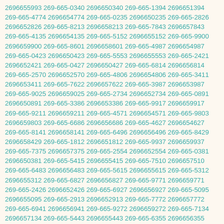2696655993 269-665-0340 2696650340 269-665-1394 2696651394 269-665-4774 2696654774 269-665-0235 2696650235 269-665-2826 2696652826 269-665-8213 2696658213 269-665-7843 2696657843 269-665-4135 2696654135 269-665-5152 2696655152 269-665-9900 2696659900 269-665-8601 2696658601 269-665-4987 2696654987 269-665-0423 2696650423 269-665-5553 2696655553 269-665-2421 2696652421 269-665-0427 2696650427 269-665-6814 2696656814 269-665-2570 2696652570 269-665-4806 2696654806 269-665-3411 2696653411 269-665-7622 2696657622 269-665-3987 2696653987 269-665-9025 2696659025 269-665-2734 2696652734 269-665-0891 2696650891 269-665-3386 2696653386 269-665-9917 2696659917 269-665-9211 2696659211 269-665-4571 2696654571 269-665-9803 2696659803 269-665-6686 2696656686 269-665-4627 2696654627 269-665-8141 2696658141 269-665-6496 2696656496 269-665-8429 2696658429 269-665-1812 2696651812 269-665-9937 2696659937 269-665-7375 2696657375 269-665-2554 2696652554 269-665-0381 2696650381 269-665-5415 2696655415 269-665-7510 2696657510 269-665-6483 2696656483 269-665-5615 2696655615 269-665-5312 2696655312 269-665-6827 2696656827 269-665-9771 2696659771 269-665-2426 2696652426 269-665-6927 2696656927 269-665-5095 2696655095 269-665-2913 2696652913 269-665-7772 2696657772 269-665-6941 2696656941 269-665-9272 2696659272 269-665-7134 2696657134 269-665-5443 2696655443 269-665-6355 2696656355 269-665-5876 2696655876 269-665-1984 2696651984 269-665-7631 2696657631 269-665-0398 2696650398 269-665-7841 2696657841 269-665-6016 2696656016 269-665-8836 2696658836 269-665-5928 2696655928 269-665-5702 2696655702 269-665-9083 2696659083 269-